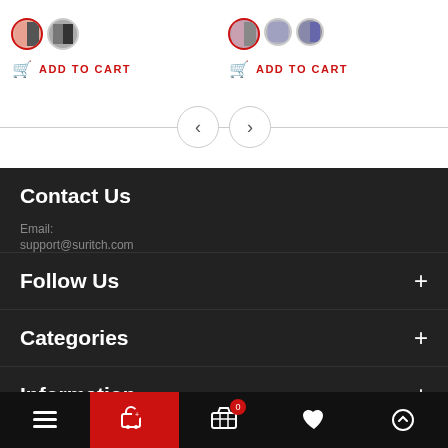[Figure (screenshot): Product color swatches and ADD TO CART buttons for two products]
[Figure (screenshot): Navigation left/right arrow buttons with horizontal divider line]
Contact Us
Email:
support@suritch.com
Follow Us
Categories
Information
Bottom navigation bar with menu, cart (0), wishlist, and scroll-to-top buttons